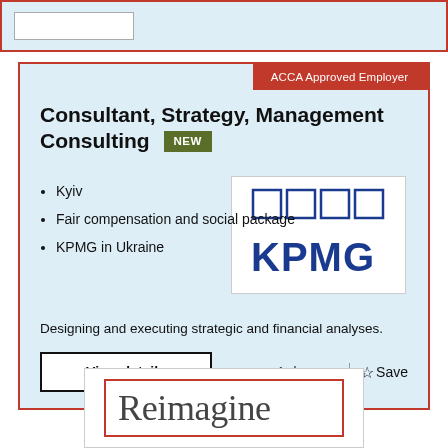[Figure (screenshot): Top partial card with input box, light blue background, red border]
ACCA Approved Employer
Consultant, Strategy, Management Consulting
[Figure (logo): KPMG logo with four squares above and bold KPMG text below]
Kyiv
Fair compensation and social package
KPMG in Ukraine
Designing and executing strategic and financial analyses.
View details
1 day ago  |  ☆ Save
[Figure (screenshot): Bottom partial card showing 'Reimagine' text inside red border on white background]